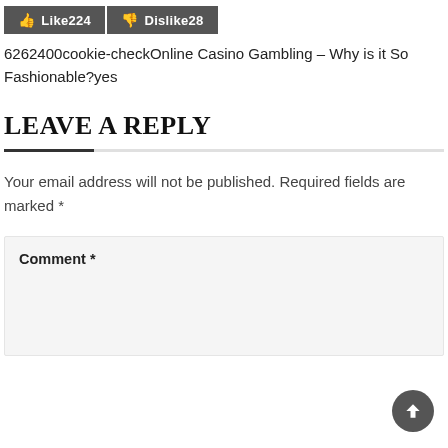[Figure (other): Like and Dislike buttons showing Like 224 and Dislike 28]
6262400cookie-checkOnline Casino Gambling – Why is it So Fashionable?yes
LEAVE A REPLY
Your email address will not be published. Required fields are marked *
Comment *